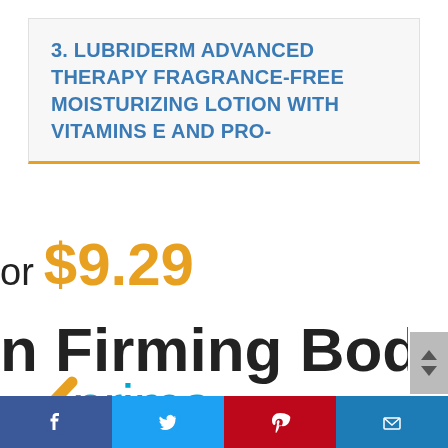3. LUBRIDERM ADVANCED THERAPY FRAGRANCE-FREE MOISTURIZING LOTION WITH VITAMINS E AND PRO-
or $9.29
n Firming Body L
[Figure (logo): Amazon Prime logo with orange checkmark and cyan 'prime' text]
Social sharing bar: Facebook, Twitter, Pinterest, Email